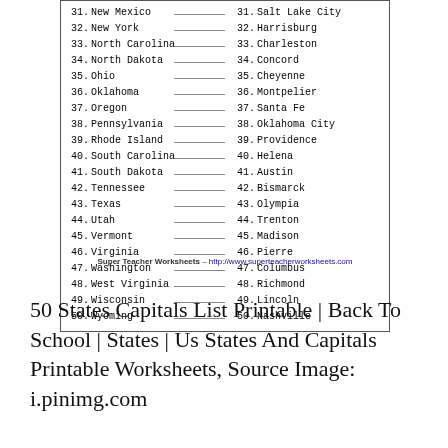| # | State | Answer | # | Capital |
| --- | --- | --- | --- | --- |
| 31. | New Mexico | ___ | 31. | Salt Lake City |
| 32. | New York | ___ | 32. | Harrisburg |
| 33. | North Carolina | ___ | 33. | Charleston |
| 34. | North Dakota | ___ | 34. | Concord |
| 35. | Ohio | ___ | 35. | Cheyenne |
| 36. | Oklahoma | ___ | 36. | Montpelier |
| 37. | Oregon | ___ | 37. | Santa Fe |
| 38. | Pennsylvania | ___ | 38. | Oklahoma City |
| 39. | Rhode Island | ___ | 39. | Providence |
| 40. | South Carolina | ___ | 40. | Helena |
| 41. | South Dakota | ___ | 41. | Austin |
| 42. | Tennessee | ___ | 42. | Bismarck |
| 43. | Texas | ___ | 43. | Olympia |
| 44. | Utah | ___ | 44. | Trenton |
| 45. | Vermont | ___ | 45. | Madison |
| 46. | Virginia | ___ | 46. | Pierre |
| 47. | Washington | ___ | 47. | Columbus |
| 48. | West Virginia | ___ | 48. | Richmond |
| 49. | Wisconsin | ___ | 49. | Lincoln |
| 50. | Wyoming | ___ | 50. | Nashville |
Super Teacher Worksheets – http://www.superteacherworksheets.com
50 States Capitals List Printable | Back To School | States | Us States And Capitals Printable Worksheets, Source Image: i.pinimg.com